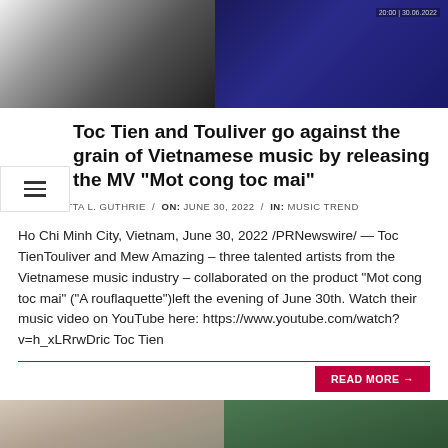[Figure (photo): Top banner image split in two: left side shows black and white photo of artists, right side shows dark blue/purple background with timestamp '20:00 | 30.06.2022']
Toc Tien and Touliver go against the grain of Vietnamese music by releasing the MV “Mot cong toc mai”
BY: LORETTA L. GUTHRIE / ON: JUNE 30, 2022 / IN: MUSIC TREND
Ho Chi Minh City, Vietnam, June 30, 2022 /PRNewswire/ — Toc TienTouliver and Mew Amazing – three talented artists from the Vietnamese music industry – collaborated on the product “Mot cong toc mai” (“A rouflaquette”)left the evening of June 30th. Watch their music video on YouTube here: https://www.youtube.com/watch?v=h_xLRrwDric Toc Tien
READ MORE →
[Figure (photo): Bottom image showing outdoor scene with architectural columns/pillars and greenery/trees]